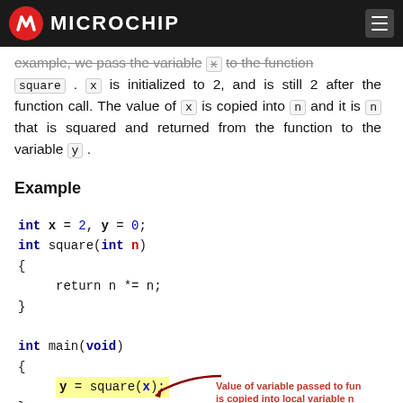Microchip
example, we pass the variable x to the function square. x is initialized to 2, and is still 2 after the function call. The value of x is copied into n and it is n that is squared and returned from the function to the variable y.
Example
[Figure (screenshot): C code example showing pass-by-value. Code: int x = 2, y = 0; int square(int n) { return n *= n; } int main(void) { y = square(x); } With annotation: Value of variable passed to function is copied into local variable n. After Function Call: y = 4, x = 2, x was not changed by function.]